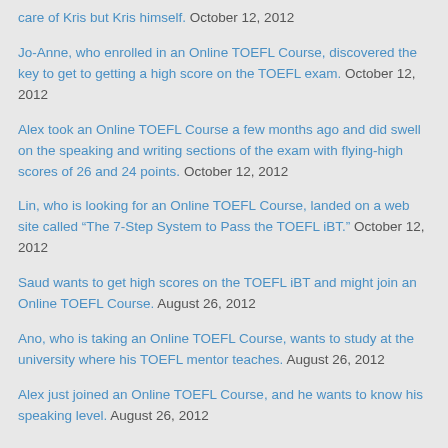care of Kris but Kris himself. October 12, 2012
Jo-Anne, who enrolled in an Online TOEFL Course, discovered the key to get to getting a high score on the TOEFL exam. October 12, 2012
Alex took an Online TOEFL Course a few months ago and did swell on the speaking and writing sections of the exam with flying-high scores of 26 and 24 points. October 12, 2012
Lin, who is looking for an Online TOEFL Course, landed on a web site called “The 7-Step System to Pass the TOEFL iBT.” October 12, 2012
Saud wants to get high scores on the TOEFL iBT and might join an Online TOEFL Course. August 26, 2012
Ano, who is taking an Online TOEFL Course, wants to study at the university where his TOEFL mentor teaches. August 26, 2012
Alex just joined an Online TOEFL Course, and he wants to know his speaking level. August 26, 2012